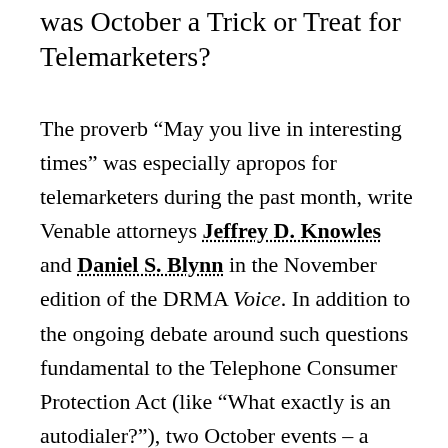was October a Trick or Treat for Telemarketers?
The proverb "May you live in interesting times" was especially apropos for telemarketers during the past month, write Venable attorneys Jeffrey D. Knowles and Daniel S. Blynn in the November edition of the DRMA Voice. In addition to the ongoing debate around such questions fundamental to the Telephone Consumer Protection Act (like "What exactly is an autodialer?"), two October events – a Supreme Court case and a Federal Communications Commission announcement – have the potential to add more spice to